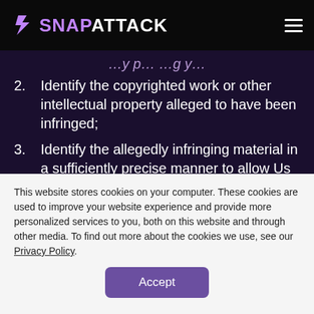SNAPATTACK
Identify the copyrighted work or other intellectual property alleged to have been infringed;
Identify the allegedly infringing material in a sufficiently precise manner to allow Us to locate that material;
Contain adequate information by which we can contact you (including postal address, telephone
This website stores cookies on your computer. These cookies are used to improve your website experience and provide more personalized services to you, both on this website and through other media. To find out more about the cookies we use, see our Privacy Policy.
Accept